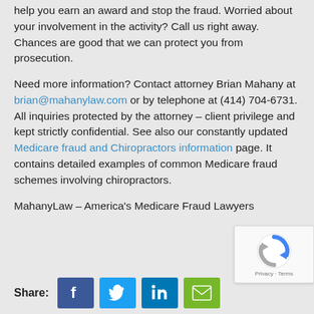help you earn an award and stop the fraud. Worried about your involvement in the activity? Call us right away. Chances are good that we can protect you from prosecution.
Need more information? Contact attorney Brian Mahany at brian@mahanylaw.com or by telephone at (414) 704-6731. All inquiries protected by the attorney – client privilege and kept strictly confidential. See also our constantly updated Medicare fraud and Chiropractors information page. It contains detailed examples of common Medicare fraud schemes involving chiropractors.
MahanyLaw – America's Medicare Fraud Lawyers